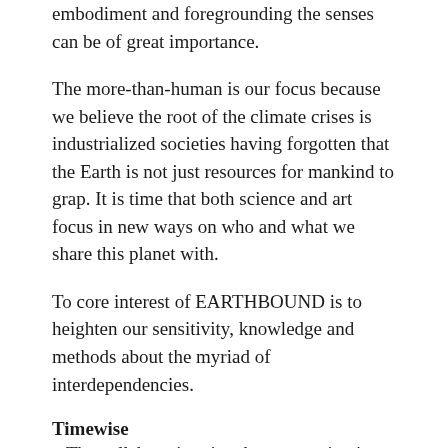embodiment and foregrounding the senses can be of great importance.
The more-than-human is our focus because we believe the root of the climate crises is industrialized societies having forgotten that the Earth is not just resources for mankind to grap. It is time that both science and art focus in new ways on who and what we share this planet with.
To core interest of EARTHBOUND is to heighten our sensitivity, knowledge and methods about the myriad of interdependencies.
Timewise
– The collaboration time between scientist and artist will be defined by each ‘work couple’ in collaboration with the organizers. This means that the scientist may be able to also bring for instance a writing project along for the one month stay, as long as the residency